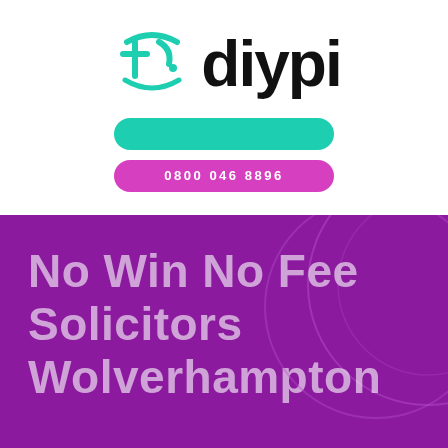[Figure (logo): diypi logo with teal stylized T icon and black bold diypi text, followed by a teal rounded rectangle bar and a magenta/pink rounded rectangle with phone number 0800 046 8896]
No Win No Fee Solicitors Wolverhampton